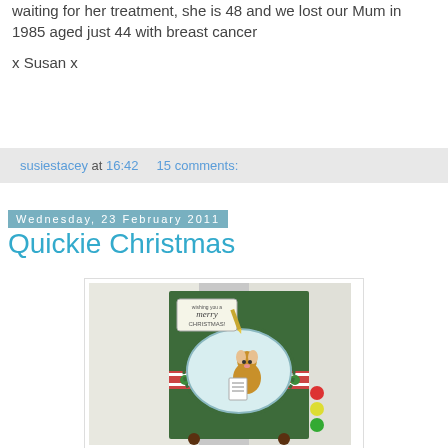waiting for her treatment, she is 48 and we lost our Mum in 1985 aged just 44 with breast cancer
x Susan x
susiestacey at 16:42    15 comments:
Wednesday, 23 February 2011
Quickie Christmas
[Figure (photo): A handmade Christmas card featuring a green card base with a hamster/mouse character holding a list, an oval scalloped frame, decorative ribbon strip, and coloured brads/buttons. The card sits on small ball feet and is propped against a white background.]